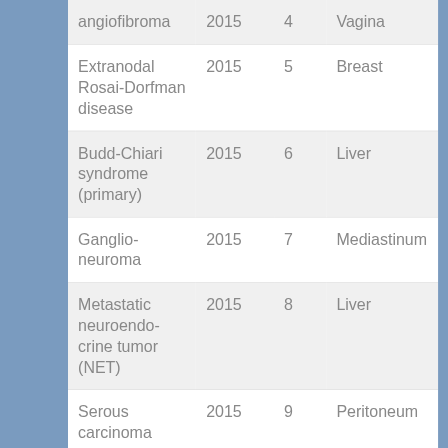| angiofibroma | 2015 | 4 | Vagina |
| Extranodal Rosai-Dorfman disease | 2015 | 5 | Breast |
| Budd-Chiari syndrome (primary) | 2015 | 6 | Liver |
| Ganglioneuroma | 2015 | 7 | Mediastinum |
| Metastatic neuroendocrine tumor (NET) | 2015 | 8 | Liver |
| Serous carcinoma | 2015 | 9 | Peritoneum |
| Hepatic nuclear factor 1 |  |  |  |